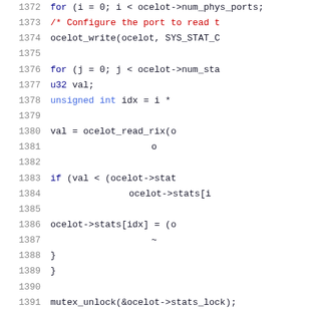[Figure (screenshot): Source code listing showing lines 1372-1392 of a C program. Lines show nested for loops iterating over physical ports and statistics, reading values with ocelot_read_rix, checking and updating ocelot->stats array, and finally calling mutex_unlock on stats_lock. Line numbers are shown in gray on the left; keywords and identifiers appear in dark blue, comments in red.]